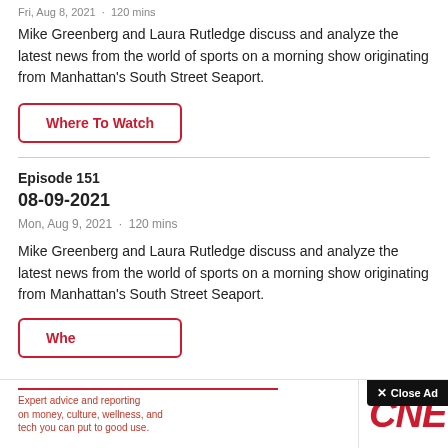Fri, Aug 8, 2021  ·  120 mins
Mike Greenberg and Laura Rutledge discuss and analyze the latest news from the world of sports on a morning show originating from Manhattan's South Street Seaport.
Where To Watch
Episode 151
08-09-2021
Mon, Aug 9, 2021  ·  120 mins
Mike Greenberg and Laura Rutledge discuss and analyze the latest news from the world of sports on a morning show originating from Manhattan's South Street Seaport.
Where To Watch
Expert advice and reporting on money, culture, wellness, and tech you can put to good use.
[Figure (logo): CNET logo in red italic bold text]